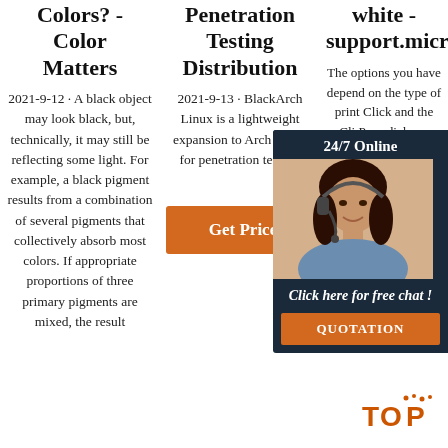Colors? - Color Matters
2021-9-12 · A black object may look black, but, technically, it may still be reflecting some light. For example, a black pigment results from a combination of several pigments that collectively absorb most colors. If appropriate proportions of three primary pigments are mixed, the result
Penetration Testing Distribution
2021-9-13 · BlackArch Linux is a lightweight expansion to Arch Linux for penetration testers.
[Figure (other): Orange Get Price button]
white - support.microsoft
The options you have depend on the type of printer. Click and the Click Properties dialog box opens. The options are specific to the printer. In the dialog box, find and select the properties for printing in color, grayscale or black
[Figure (other): 24/7 Online chat widget with woman wearing headset, Click here for free chat!, and QUOTATION button]
[Figure (logo): TOP logo in orange with dots]